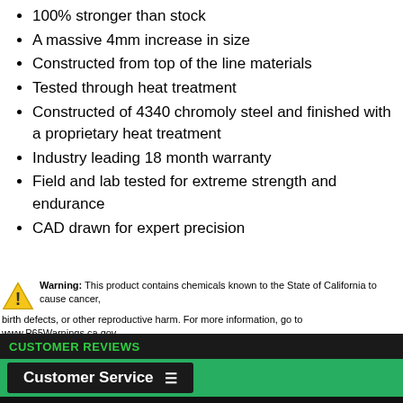100% stronger than stock
A massive 4mm increase in size
Constructed from top of the line materials
Tested through heat treatment
Constructed of 4340 chromoly steel and finished with a proprietary heat treatment
Industry leading 18 month warranty
Field and lab tested for extreme strength and endurance
CAD drawn for expert precision
Warning: This product contains chemicals known to the State of California to cause cancer, birth defects, or other reproductive harm. For more information, go to www.P65Warnings.ca.gov
CUSTOMER REVIEWS
Customer Service